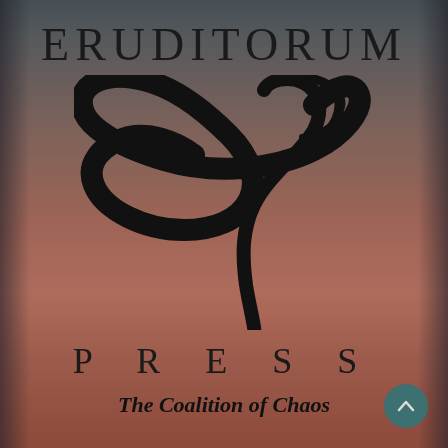ERUDITORUM
[Figure (logo): Eruditorum Press stylized 'EP' logo — a sweeping calligraphic 'e' curve combined with a tall italic 'P', rendered in black with flowing brush strokes]
P R E S S
The Coalition of Chaos